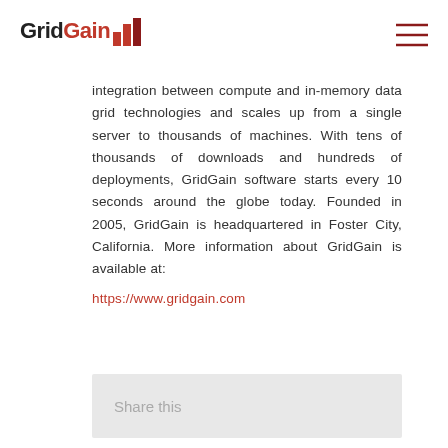[Figure (logo): GridGain logo with red flame/chart icon and bold text]
[Figure (other): Hamburger menu icon with three horizontal dark red lines]
integration between compute and in-memory data grid technologies and scales up from a single server to thousands of machines. With tens of thousands of downloads and hundreds of deployments, GridGain software starts every 10 seconds around the globe today. Founded in 2005, GridGain is headquartered in Foster City, California. More information about GridGain is available at: https://www.gridgain.com
Share this